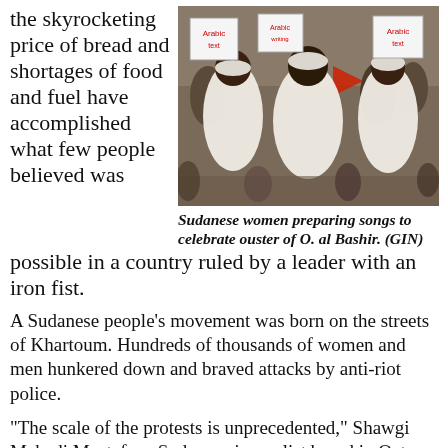the skyrocketing price of bread and shortages of food and fuel have accomplished what few people believed was possible in a country ruled by a leader with an iron fist.
[Figure (photo): Sudanese women in white clothing holding signs with Arabic writing, celebrating in a crowd]
Sudanese women preparing songs to celebrate ouster of O. al Bashir. (GIN)
A Sudanese people's movement was born on the streets of Khartoum. Hundreds of thousands of women and men hunkered down and braved attacks by anti-riot police.
“The scale of the protests is unprecedented,” Shawgi Mahadi Mustafa, a Sudanese journalist based in Qatar, marveled. Troops that once turned back opponents with ease were unable to clear a sit-in outside army headquarters in Khartoum.